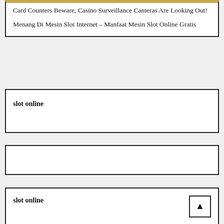Card Counters Beware, Casino Surveillance Cameras Are Looking Out!
Menang Di Mesin Slot Internet – Manfaat Mesin Slot Online Gratis
slot online
slot online